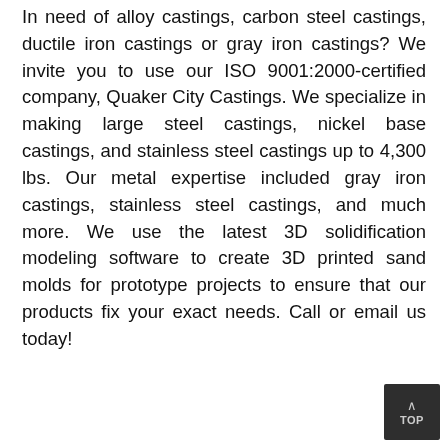In need of alloy castings, carbon steel castings, ductile iron castings or gray iron castings? We invite you to use our ISO 9001:2000-certified company, Quaker City Castings. We specialize in making large steel castings, nickel base castings, and stainless steel castings up to 4,300 lbs. Our metal expertise included gray iron castings, stainless steel castings, and much more. We use the latest 3D solidification modeling software to create 3D printed sand molds for prototype projects to ensure that our products fix your exact needs. Call or email us today!